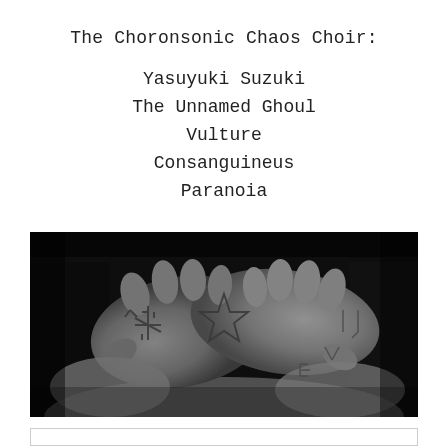The Choronsonic Chaos Choir:
Yasuyuki Suzuki
The Unnamed Ghoul
Vulture
Consanguineus
Paranoia
[Figure (photo): Black and white photograph of two tattooed hands clasped together, showing various tattoos including symbols and a star-like design on the knuckles and backs of the hands.]
[Figure (other): Partially visible box or frame at the bottom of the page, appears to be a text or image box with a border.]